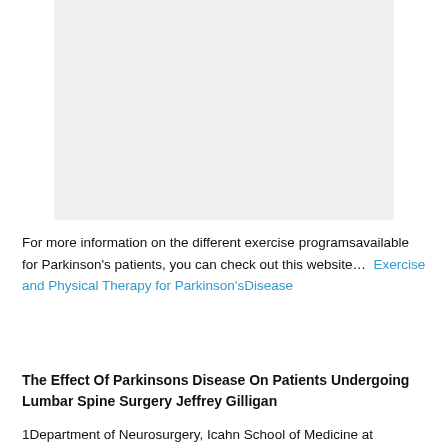[Figure (other): Gray placeholder image area at the top of the page]
For more information on the different exercise programsavailable for Parkinson's patients, you can check out this website…  Exercise and Physical Therapy for Parkinson'sDisease
The Effect Of Parkinsons Disease On Patients Undergoing Lumbar Spine Surgery Jeffrey Gilligan
1Department of Neurosurgery, Icahn School of Medicine at